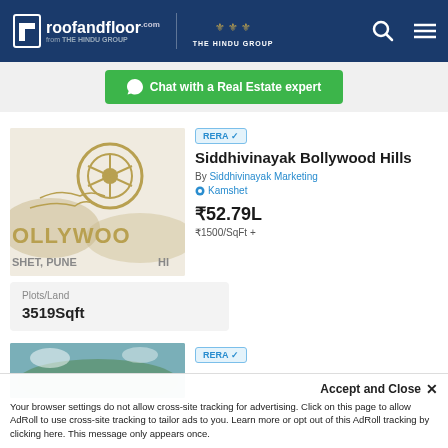roofandfloor.com from THE HINDU GROUP | THE HINDU GROUP
Chat with a Real Estate expert
[Figure (logo): Siddhivinayak Bollywood Hills project logo with film reel and hills, text: OLLYWOO, SHET, PUNE, HI]
RERA ✓
Siddhivinayak Bollywood Hills
By Siddhivinayak Marketing
Kamshet
₹52.79L
₹1500/SqFt +
Plots/Land
3519Sqft
[Figure (photo): Partial view of a second property listing with green landscape photo]
RERA ✓
Accept and Close ✕ Your browser settings do not allow cross-site tracking for advertising. Click on this page to allow AdRoll to use cross-site tracking to tailor ads to you. Learn more or opt out of this AdRoll tracking by clicking here. This message only appears once.